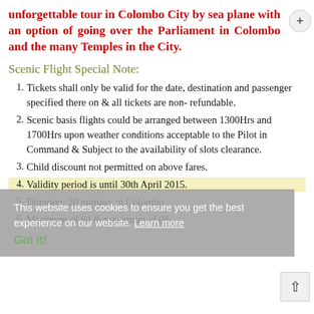unforgettable tour in Colombo City by sea plane with an option of going over the Parliament in Colombo and the many Temples in the City.
Scenic Flight Special Note:
Tickets shall only be valid for the date, destination and passenger specified there on & all tickets are non- refundable.
Scenic basis flights could be arranged between 1300Hrs and 1700Hrs upon weather conditions acceptable to the Pilot in Command & Subject to the availability of slots clearance.
Child discount not permitted on above fares.
Validity period is until 30th April 2015.
Duration: 20 minutes in Colombo .
Minimum of 04 & maximum of 08